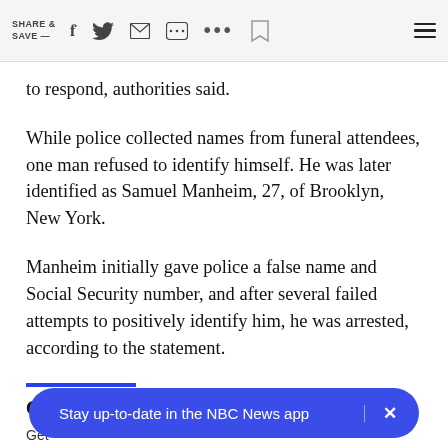SHARE & SAVE —
to respond, authorities said.
While police collected names from funeral attendees, one man refused to identify himself. He was later identified as Samuel Manheim, 27, of Brooklyn, New York.
Manheim initially gave police a false name and Social Security number, and after several failed attempts to positively identify him, he was arrested, according to the statement.
Get the Morning Rundown
Get
Stay up-to-date in the NBC News app